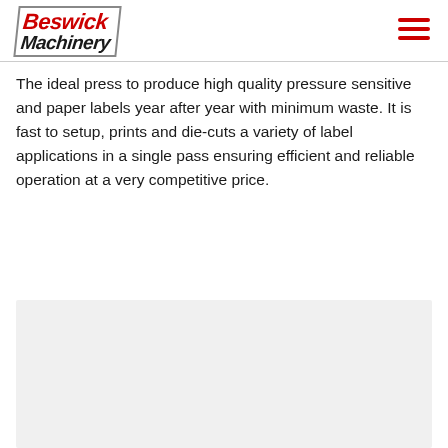Beswick Machinery
The ideal press to produce high quality pressure sensitive and paper labels year after year with minimum waste. It is fast to setup, prints and die-cuts a variety of label applications in a single pass ensuring efficient and reliable operation at a very competitive price.
[Figure (photo): Photo of a Beswick Machinery label press (partially visible, light grey background placeholder)]